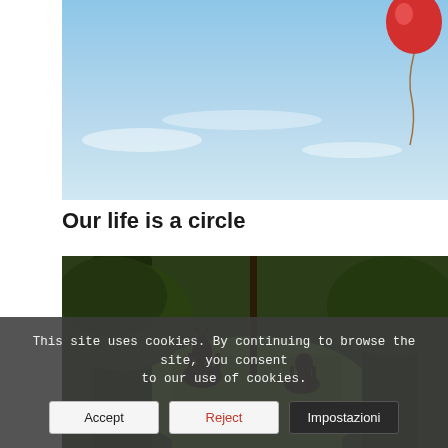[Figure (photo): Outdoor photo of blue sky with a red balloon floating in the upper right corner, with string visible]
Our life is a circle
[Figure (photo): Outdoor photo of deer walking through a lush green forest with large trees, two deer visible in silhouette]
This site uses cookies. By continuing to browse the site, you consent to our use of cookies.
Accept | Reject | Impostazioni